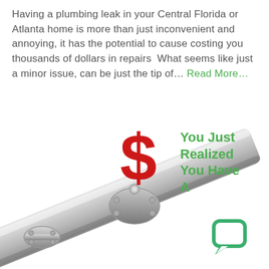Having a plumbing leak in your Central Florida or Atlanta home is more than just inconvenient and annoying, it has the potential to cause costing you thousands of dollars in repairs  What seems like just a minor issue, can be just the tip of… Read More…
[Figure (illustration): A metallic pipe with flanges and a large red dollar sign symbol mounted on top like a valve handle, shown at an angle against a white background.]
You Just Realized You Have A